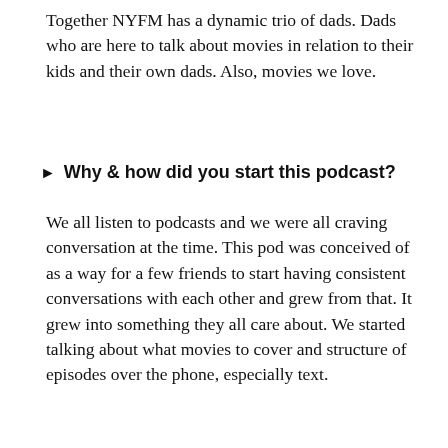Together NYFM has a dynamic trio of dads. Dads who are here to talk about movies in relation to their kids and their own dads. Also, movies we love.
► Why & how did you start this podcast?
We all listen to podcasts and we were all craving conversation at the time. This pod was conceived of as a way for a few friends to start having consistent conversations with each other and grew from that. It grew into something they all care about. We started talking about what movies to cover and structure of episodes over the phone, especially text.